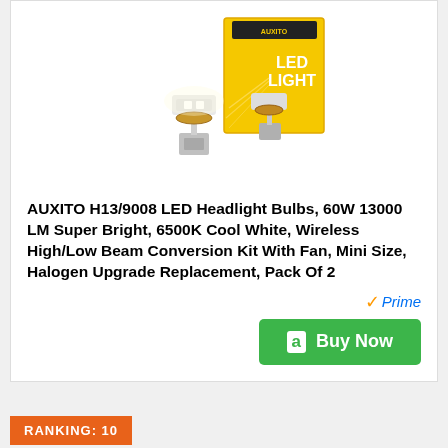[Figure (photo): Product photo of AUXITO LED headlight bulbs with yellow and black packaging showing 'LED LIGHT' text]
AUXITO H13/9008 LED Headlight Bulbs, 60W 13000 LM Super Bright, 6500K Cool White, Wireless High/Low Beam Conversion Kit With Fan, Mini Size, Halogen Upgrade Replacement, Pack Of 2
Prime Buy Now
RANKING: 10